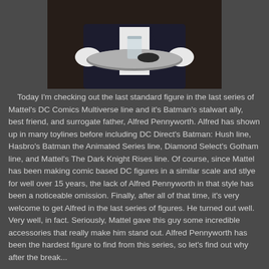[Figure (photo): A person in formal butler attire (dark suit, white gloves) holding a round silver tray with a glass on it, photographed from the torso down.]
Today I'm checking out the last standard figure in the last series of Mattel's DC Comics Multiverse line and it's Batman's stalwart ally, best friend, and surrogate father, Alfred Pennyworth. Alfred has shown up in many toylines before including DC Direct's Batman: Hush line, Hasbro's Batman the Animated Series line, Diamond Select's Gotham line, and Mattel's The Dark Knight Rises line. Of course, since Mattel has been making comic based DC figures in a similar scale and stlye for well over 15 years, the lack of Alfred Pennyworth in that style has been a noticeable omission. Finally, after all of that time, it's very welcome to get Alfred in the last series of figures. He turned out well. Very well, in fact. Seriously, Mattel gave this guy some incredible accessories that really make him stand out. Alfred Pennyworth has been the hardest figure to find from this series, so let's find out why after the break...